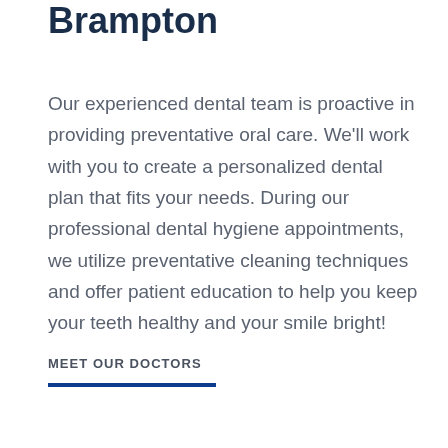Brampton
Our experienced dental team is proactive in providing preventative oral care. We’ll work with you to create a personalized dental plan that fits your needs. During our professional dental hygiene appointments, we utilize preventative cleaning techniques and offer patient education to help you keep your teeth healthy and your smile bright!
MEET OUR DOCTORS